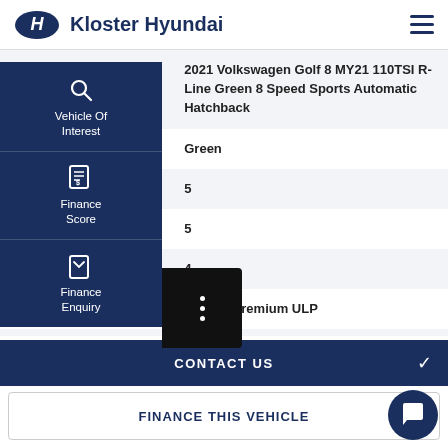Kloster Hyundai
| Label | Value |
| --- | --- |
| Vehicle | 2021 Volkswagen Golf 8 MY21 110TSI R-Line Green 8 Speed Sports Automatic Hatchback |
| Body Colour | Green |
|  | 5 |
|  | 5 |
| ors | 4 |
|  | Petrol - Premium ULP |
| Capacity | 1.4 |
| Gears | 8 Speed |
| Gearbox | Sports Automatic |
[Figure (screenshot): Left sidebar overlay with Vehicle Of Interest, Finance Score, and Finance Enquiry navigation icons on dark navy background]
CONTACT US
FINANCE THIS VEHICLE